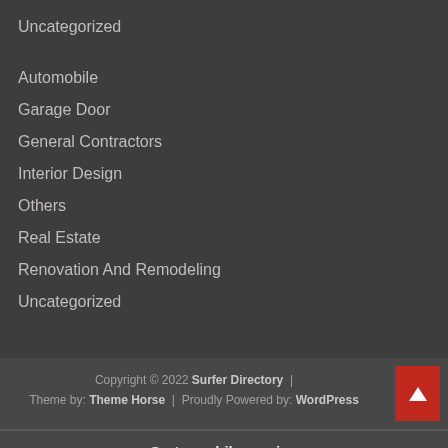Uncategorized
Automobile
Garage Door
General Contractors
Interior Design
Others
Real Estate
Renovation And Remodeling
Uncategorized
Copyright © 2022 Surfer Directory  |  Theme by: Theme Horse  |  Proudly Powered by: WordPress
Go to mobile version